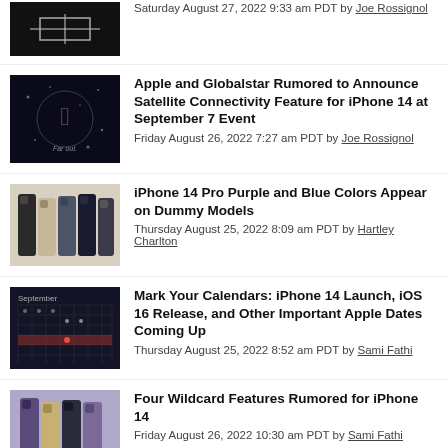[partial article] Saturday August 27, 2022 9:33 am PDT by Joe Rossignol
Apple and Globalstar Rumored to Announce Satellite Connectivity Feature for iPhone 14 at September 7 Event — Friday August 26, 2022 7:27 am PDT by Joe Rossignol
iPhone 14 Pro Purple and Blue Colors Appear on Dummy Models — Thursday August 25, 2022 8:09 am PDT by Hartley Charlton
Mark Your Calendars: iPhone 14 Launch, iOS 16 Release, and Other Important Apple Dates Coming Up — Thursday August 25, 2022 8:52 am PDT by Sami Fathi
Four Wildcard Features Rumored for iPhone 14 — Friday August 26, 2022 10:30 am PDT by Sami Fathi
10 Apple Devices You Shouldn't Buy Right Now